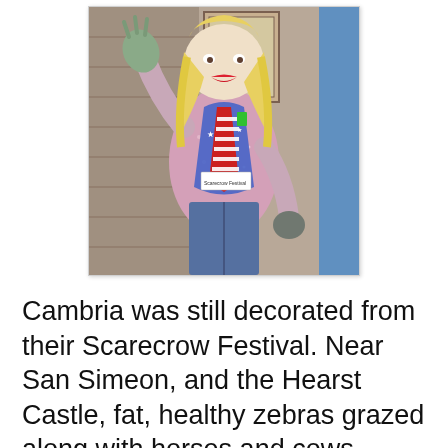[Figure (photo): A scarecrow dressed in an American flag-themed outfit with a red, white and blue scarf/tie, sparkly pink shirt, blue vest with stars, jeans, blonde hair, red lips, and gloves, one hand raised waving.]
Cambria was still decorated from their Scarecrow Festival. Near San Simeon, and the Hearst Castle, fat, healthy zebras grazed along with horses and cows, putting visions of zebra burger stands in my head. Sea lions lounged